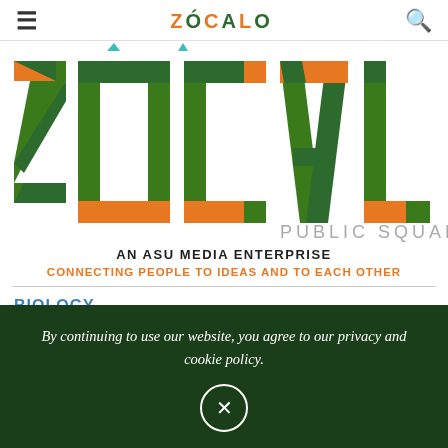≡  ZÓCALO  🔍
[Figure (logo): Zócalo Public Square logo — large geometric block letters spelling ZÓCALO in green, orange, and dark green mosaic tiles, with 'PUBLIC SQUARE' in light gray beneath, and a small teal triangle accent above the Ó]
AN ASU MEDIA ENTERPRISE
CONNECTING PEOPLE TO IDEAS AND TO EACH OTHER
BIOLOGY
WHAT IS THE MEANING OF LIFE?
By continuing to use our website, you agree to our privacy and cookie policy.